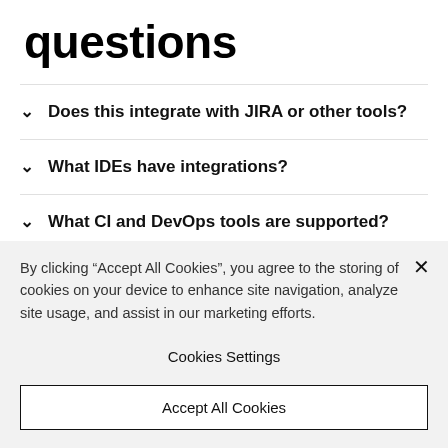questions
Does this integrate with JIRA or other tools?
What IDEs have integrations?
What CI and DevOps tools are supported?
By clicking “Accept All Cookies”, you agree to the storing of cookies on your device to enhance site navigation, analyze site usage, and assist in our marketing efforts.
Cookies Settings
Accept All Cookies